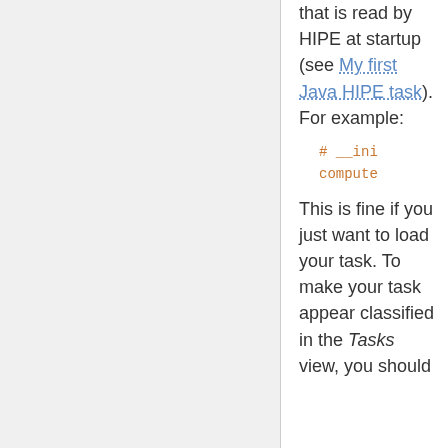that is read by HIPE at startup (see My first Java HIPE task). For example:
# __ini
compute
This is fine if you just want to load your task. To make your task appear classified in the Tasks view, you should